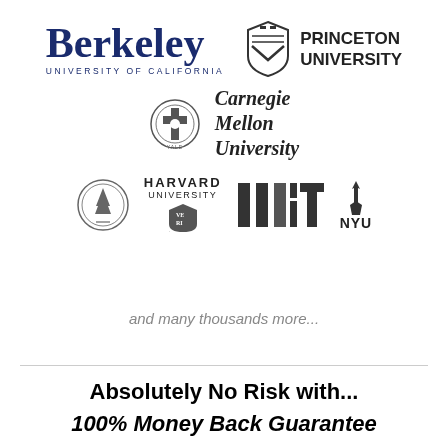[Figure (logo): University logos: Berkeley (University of California), Princeton University, Yale + Carnegie Mellon University, Stanford, Harvard University, MIT, NYU]
and many thousands more...
Absolutely No Risk with...
100% Money Back Guarantee